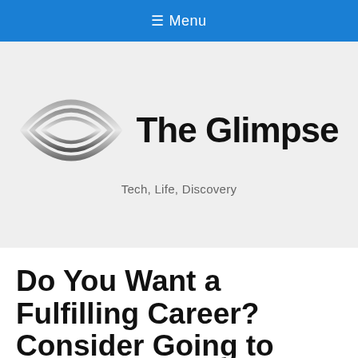≡ Menu
[Figure (logo): The Glimpse logo: stylized eye/lens icon in silver/gray gradient with the text 'The Glimpse' in bold black]
Tech, Life, Discovery
Do You Want a Fulfilling Career? Consider Going to Nursing School